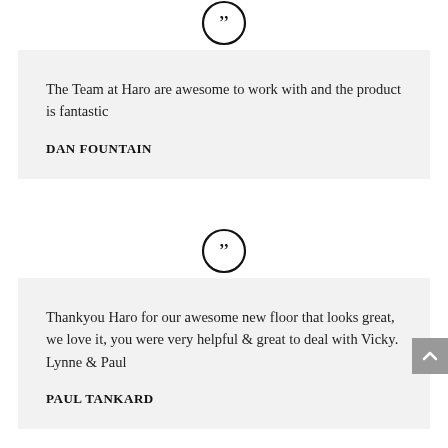[Figure (illustration): Double closing quotation mark icon inside a circle, centered above the first testimonial block]
The Team at Haro are awesome to work with and the product is fantastic
DAN FOUNTAIN
[Figure (illustration): Double closing quotation mark icon inside a circle, centered above the second testimonial block]
Thankyou Haro for our awesome new floor that looks great, we love it, you were very helpful & great to deal with Vicky. Lynne & Paul
PAUL TANKARD